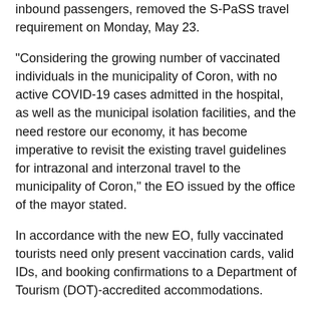inbound passengers, removed the S-PaSS travel requirement on Monday, May 23.
“Considering the growing number of vaccinated individuals in the municipality of Coron, with no active COVID-19 cases admitted in the hospital, as well as the municipal isolation facilities, and the need restore our economy, it has become imperative to revisit the existing travel guidelines for intrazonal and interzonal travel to the municipality of Coron,” the EO issued by the office of the mayor stated.
In accordance with the new EO, fully vaccinated tourists need only present vaccination cards, valid IDs, and booking confirmations to a Department of Tourism (DOT)-accredited accommodations.
- Advertisement -
Tourists who are partially vaccinated or unvaccinated must show negative RT-PCR tests from a Department of Health (DOH)-accredited laboratory taken 72 hours prior to travel, together with